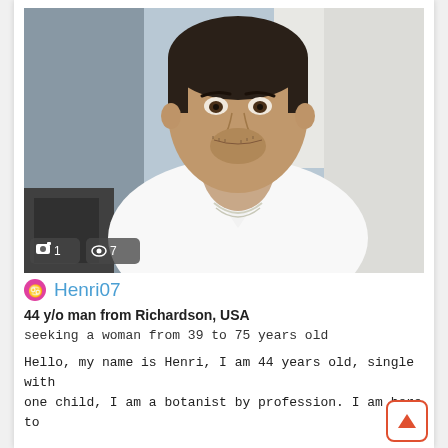[Figure (photo): Selfie photo of a middle-aged man with short dark hair and stubble, wearing a white open-collar shirt with a silver chain necklace. Photo badges show camera icon '1' and eye icon '7' in the bottom-left corner.]
Henri07
44 y/o man from Richardson, USA
seeking a woman from 39 to 75 years old
Hello, my name is Henri, I am 44 years old, single with one child, I am a botanist by profession. I am here to